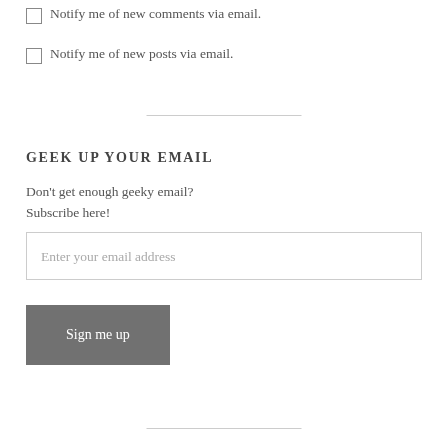Notify me of new comments via email.
Notify me of new posts via email.
GEEK UP YOUR EMAIL
Don't get enough geeky email?
Subscribe here!
Enter your email address
Sign me up